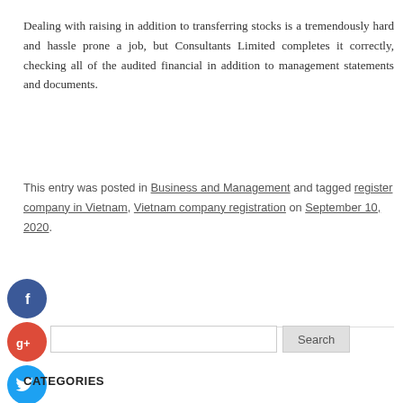Dealing with raising in addition to transferring stocks is a tremendously hard and hassle prone a job, but Consultants Limited completes it correctly, checking all of the audited financial in addition to management statements and documents.
This entry was posted in Business and Management and tagged register company in Vietnam, Vietnam company registration on September 10, 2020.
[Figure (other): Social media share icons: Facebook (blue circle with f), Google+ (red circle with g+), Twitter (blue circle with bird), Add/Plus (teal circle with +)]
[Figure (other): Search input box with Search button]
CATEGORIES